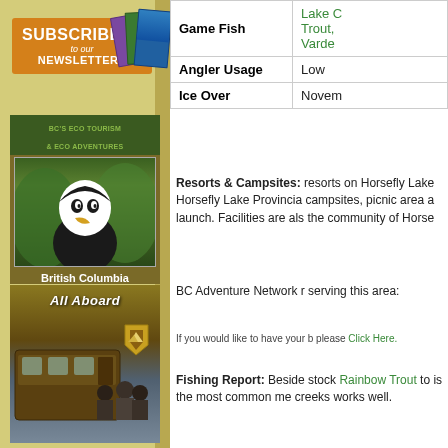[Figure (infographic): Subscribe to our Newsletters banner with book images]
[Figure (infographic): British Columbia Eco Vacations - Download Free, with bald eagle photo and eco tourism branding]
[Figure (photo): All Aboard - train/travel promotional image with people]
|  |  |
| --- | --- |
| Game Fish | Lake C Trout, Varde... |
| Angler Usage | Low |
| Ice Over | Novem... |
Resorts & Campsites: resorts on Horsefly Lake Horsefly Lake Provincial campsites, picnic area a launch. Facilities are als the community of Horse
BC Adventure Network r serving this area:
If you would like to have your b please Click Here.
Fishing Report: Beside stock Rainbow Trout to is the most common me creeks works well.